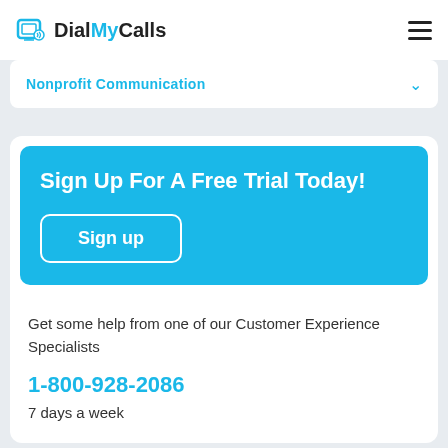DialMyCalls
Nonprofit Communication
Sign Up For A Free Trial Today!
Sign up
Get some help from one of our Customer Experience Specialists
1-800-928-2086
7 days a week